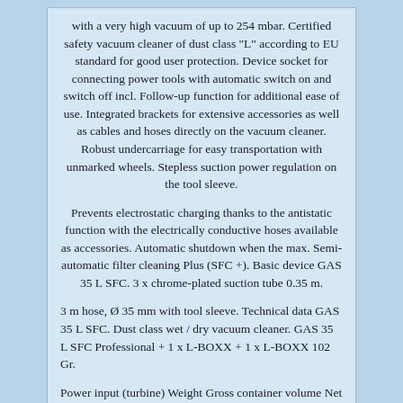with a very high vacuum of up to 254 mbar. Certified safety vacuum cleaner of dust class "L" according to EU standard for good user protection. Device socket for connecting power tools with automatic switch on and switch off incl. Follow-up function for additional ease of use. Integrated brackets for extensive accessories as well as cables and hoses directly on the vacuum cleaner. Robust undercarriage for easy transportation with unmarked wheels. Stepless suction power regulation on the tool sleeve.
Prevents electrostatic charging thanks to the antistatic function with the electrically conductive hoses available as accessories. Automatic shutdown when the max. Semi-automatic filter cleaning Plus (SFC +). Basic device GAS 35 L SFC. 3 x chrome-plated suction tube 0.35 m.
3 m hose, Ø 35 mm with tool sleeve. Technical data GAS 35 L SFC. Dust class wet / dry vacuum cleaner. GAS 35 L SFC Professional + 1 x L-BOXX + 1 x L-BOXX 102 Gr.
Power input (turbine) Weight Gross container volume Net container volume Container volume net water Main class dust class length width height Filter area Max. Vacuum (turbine) 1,380 W. 11.6 kg 35 l 23 l 19.2 l L M 515.0 mm 450.0 mm 575.0 mm 6,150 cm² 74 l / sec 254 mbar dewabi.